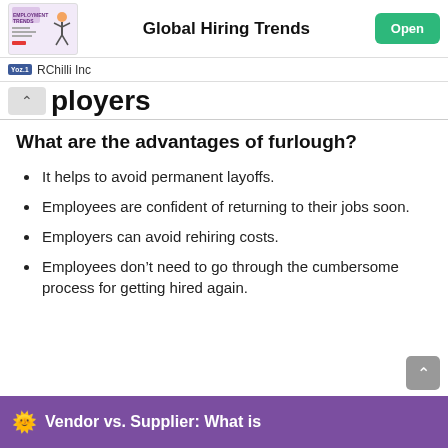Global Hiring Trends
ployers
What are the advantages of furlough?
It helps to avoid permanent layoffs.
Employees are confident of returning to their jobs soon.
Employers can avoid rehiring costs.
Employees don't need to go through the cumbersome process for getting hired again.
Vendor vs. Supplier: What is